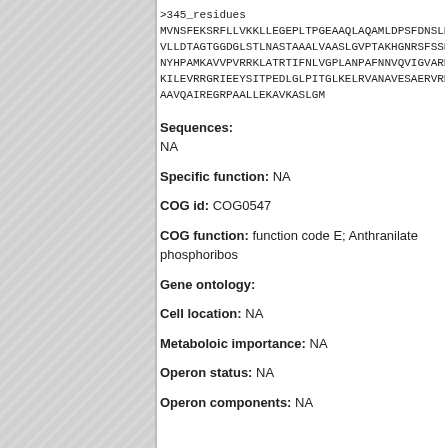>345_residues
MVNSFEKSRFLLVKKLLEGEPLTPGEAAQLAQAMLDPSFDNSLKAA
VLLDTAGTGGDGLSTLNASTAAALVAASLGVPTAKHGNRSFSSKSG
NYHPAMKAVVPVRRKLATRTIFNLVGPLANPAFNNVQVIGVARRSL
KILEVRRGRIEEYSITPEDLGLPITGLKELRVANAVESAERVRRAL
AAVQAIREGRPAALLEKAVKASLGM
Sequences:
NA
Specific function: NA
COG id: COG0547
COG function: function code E; Anthranilate phosphoribo...
Gene ontology:
Cell location: NA
Metaboloic importance: NA
Operon status: NA
Operon components: NA